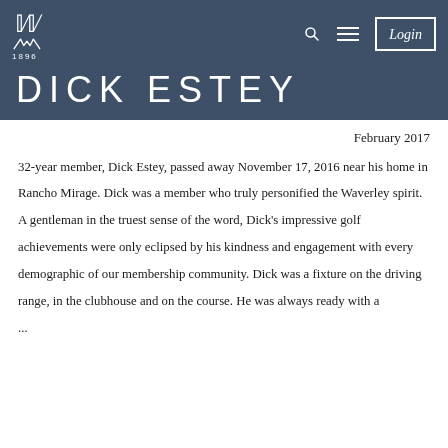W 1896  Login
DICK ESTEY
February 2017
32-year member, Dick Estey, passed away November 17, 2016 near his home in Rancho Mirage. Dick was a member who truly personified the Waverley spirit. A gentleman in the truest sense of the word, Dick's impressive golf achievements were only eclipsed by his kindness and engagement with every demographic of our membership community. Dick was a fixture on the driving range, in the clubhouse and on the course. He was always ready with a